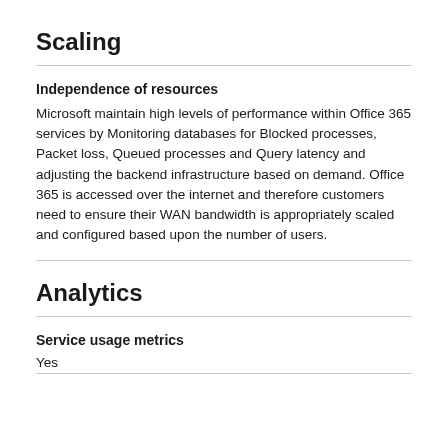Scaling
Independence of resources
Microsoft maintain high levels of performance within Office 365 services by Monitoring databases for Blocked processes, Packet loss, Queued processes and Query latency and adjusting the backend infrastructure based on demand. Office 365 is accessed over the internet and therefore customers need to ensure their WAN bandwidth is appropriately scaled and configured based upon the number of users.
Analytics
Service usage metrics
Yes